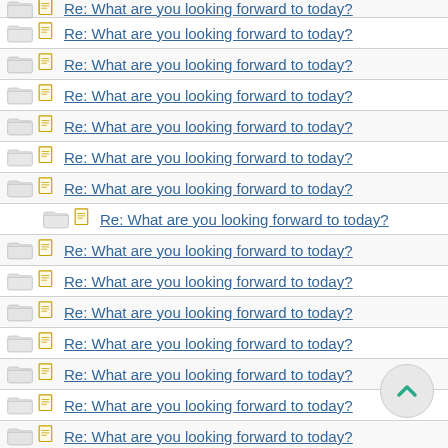Re: What are you looking forward to today?
Re: What are you looking forward to today?
Re: What are you looking forward to today?
Re: What are you looking forward to today?
Re: What are you looking forward to today?
Re: What are you looking forward to today?
Re: What are you looking forward to today?
Re: What are you looking forward to today?
Re: What are you looking forward to today?
Re: What are you looking forward to today?
Re: What are you looking forward to today?
Re: What are you looking forward to today?
Re: What are you looking forward to today?
Re: What are you looking forward to today?
Re: What are you looking forward to today?
Re: What are you looking forward to today?